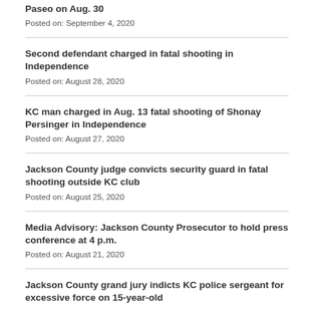Paseo on Aug. 30
Posted on: September 4, 2020
Second defendant charged in fatal shooting in Independence
Posted on: August 28, 2020
KC man charged in Aug. 13 fatal shooting of Shonay Persinger in Independence
Posted on: August 27, 2020
Jackson County judge convicts security guard in fatal shooting outside KC club
Posted on: August 25, 2020
Media Advisory: Jackson County Prosecutor to hold press conference at 4 p.m.
Posted on: August 21, 2020
Jackson County grand jury indicts KC police sergeant for excessive force on 15-year-old